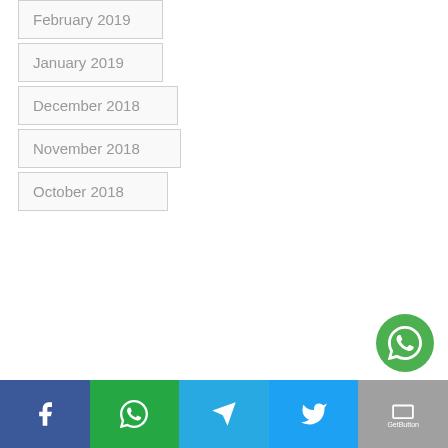February 2019
January 2019
December 2018
November 2018
October 2018
[Figure (other): Social sharing footer bar with Facebook, WhatsApp, Telegram, Twitter, and GetButton icons, and a floating WhatsApp button]